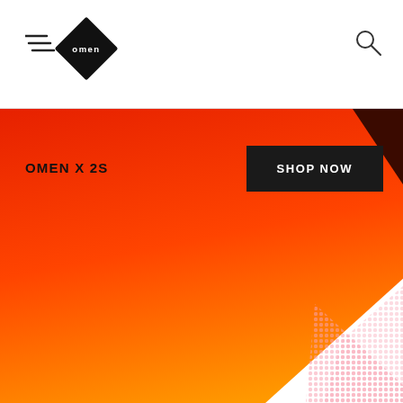[Figure (logo): OMEN by HP logo — black diamond shape with 'omen' text inside, hamburger menu lines to the left]
[Figure (illustration): Large geometric gradient graphic: a large triangle/parallelogram shape with red-to-orange gradient on the left, a dark maroon triangle at top center, and a pink halftone triangle in the bottom right corner]
OMEN X 2S
SHOP NOW